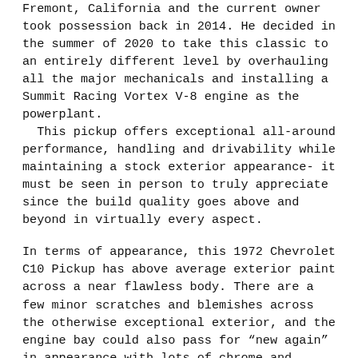Fremont, California and the current owner took possession back in 2014. He decided in the summer of 2020 to take this classic to an entirely different level by overhauling all the major mechanicals and installing a Summit Racing Vortex V-8 engine as the powerplant. This pickup offers exceptional all-around performance, handling and drivability while maintaining a stock exterior appearance- it must be seen in person to truly appreciate since the build quality goes above and beyond in virtually every aspect.
In terms of appearance, this 1972 Chevrolet C10 Pickup has above average exterior paint across a near flawless body. There are a few minor scratches and blemishes across the otherwise exceptional exterior, and the engine bay could also pass for “new again” in appearance with lots of chrome and finishing touches. The hardwood bed is simply spectacular in appearance and you’ll also find a very clean, well-kept interior with new gauges/accessories throughout and an excellent modern sound system. Again, the photos do not fully do